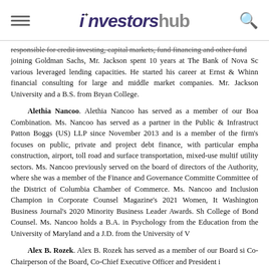investorshub
responsible for credit investing, capital markets, fund financing and other fund joining Goldman Sachs, Mr. Jackson spent 10 years at The Bank of Nova Sc various leveraged lending capacities. He started his career at Ernst & Whinn financial consulting for large and middle market companies. Mr. Jackson University and a B.S. from Bryan College.
Alethia Nancoo. Alethia Nancoo has served as a member of our Boa Combination. Ms. Nancoo has served as a partner in the Public & Infrastruct Patton Boggs (US) LLP since November 2013 and is a member of the firm's focuses on public, private and project debt finance, with particular empha construction, airport, toll road and surface transportation, mixed-use multif utility sectors. Ms. Nancoo previously served on the board of directors of the Authority, where she was a member of the Finance and Governance Committe Committee of the District of Columbia Chamber of Commerce. Ms. Nancoo and Inclusion Champion in Corporate Counsel Magazine's 2021 Women, It Washington Business Journal's 2020 Minority Business Leader Awards. Sh College of Bond Counsel. Ms. Nancoo holds a B.A. in Psychology from the Education from the University of Maryland and a J.D. from the University of V
Alex B. Rozek. Alex B. Rozek has served as a member of our Board si Co-Chairperson of the Board, Co-Chief Executive Officer and President i